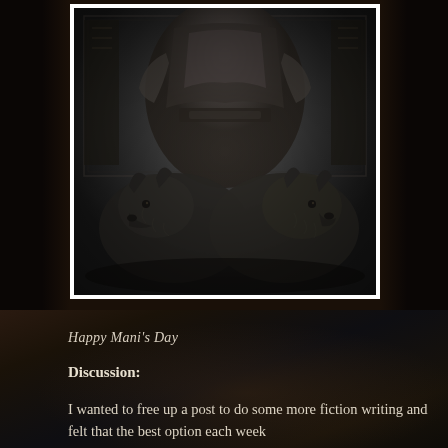[Figure (illustration): Black and white pencil illustration showing a seated warrior/deity figure with two large wolves resting in front, with ornate decorative borders and detailed armor/clothing. Dark flanking areas on left and right with a white border around the central artwork.]
Happy Mani's Day
Discussion:
I wanted to free up a post to do some more fiction writing and felt that the best option each week